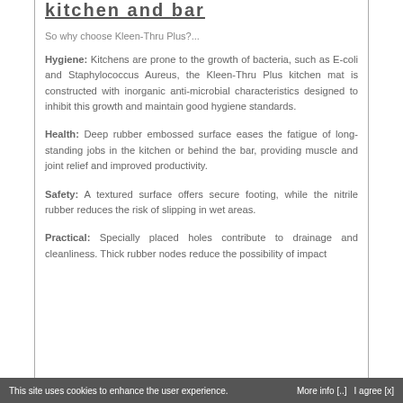kitchen and bar
So why choose Kleen-Thru Plus?...
Hygiene: Kitchens are prone to the growth of bacteria, such as E-coli and Staphylococcus Aureus, the Kleen-Thru Plus kitchen mat is constructed with inorganic anti-microbial characteristics designed to inhibit this growth and maintain good hygiene standards.
Health: Deep rubber embossed surface eases the fatigue of long-standing jobs in the kitchen or behind the bar, providing muscle and joint relief and improved productivity.
Safety: A textured surface offers secure footing, while the nitrile rubber reduces the risk of slipping in wet areas.
Practical: Specially placed holes contribute to drainage and cleanliness. Thick rubber nodes reduce the possibility of impact
This site uses cookies to enhance the user experience.    More info [..]    I agree [x]